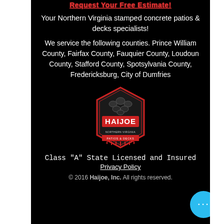Request Your Free Estimate!
Your Northern Virginia stamped concrete patios & decks specialists!
We service the following counties. Prince William County, Fairfax County, Fauquier County, Loudoun County, Stafford County, Spotsylvania County, Fredericksburg, City of Dumfries
[Figure (logo): Haijoe company logo: hexagonal badge with red and white branding, reads HAIJOE, NORTHERN VIRGINIA, PATIOS & DECKS]
Class "A" State Licensed and Insured
Privacy Policy
© 2016 Haijoe, Inc. All rights reserved.